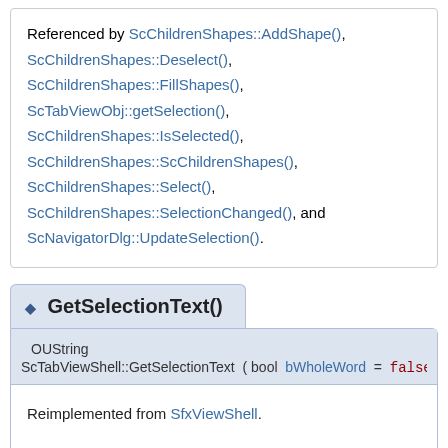Referenced by ScChildrenShapes::AddShape(), ScChildrenShapes::Deselect(), ScChildrenShapes::FillShapes(), ScTabViewObj::getSelection(), ScChildrenShapes::IsSelected(), ScChildrenShapes::ScChildrenShapes(), ScChildrenShapes::Select(), ScChildrenShapes::SelectionChanged(), and ScNavigatorDlg::UpdateSelection().
◆ GetSelectionText()
OUString ScTabViewShell::GetSelectionText ( bool bWholeWord = false )
Reimplemented from SfxViewShell.
Definition at line 42 of file tabvwshe.cxx.